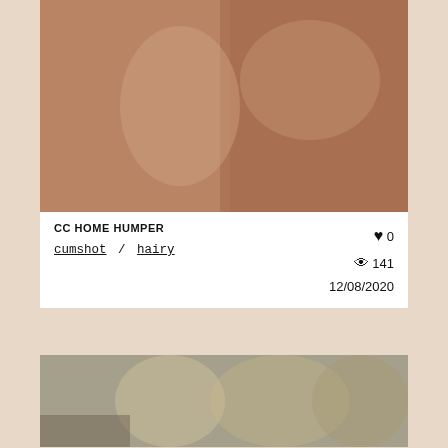[Figure (photo): Video thumbnail showing close-up adult content]
CC HOME HUMPER
cumshot / hairy
♥ 0  👁 141  12/08/2020
[Figure (photo): Video thumbnail showing three people in a scene]